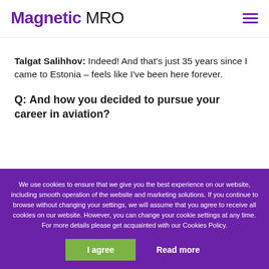Magnetic MRO
Talgat Salihhov: Indeed! And that’s just 35 years since I came to Estonia – feels like I’ve been here forever.
Q: And how you decided to pursue your career in aviation?
We use cookies to ensure that we give you the best experience on our website, including smooth operation of the website and marketing solutions. If you continue to browse without changing your settings, we will assume that you agree to receive all cookies on our website. However, you can change your cookie settings at any time. For more details please get acquainted with our Cookies Policy.
I agree   Read more